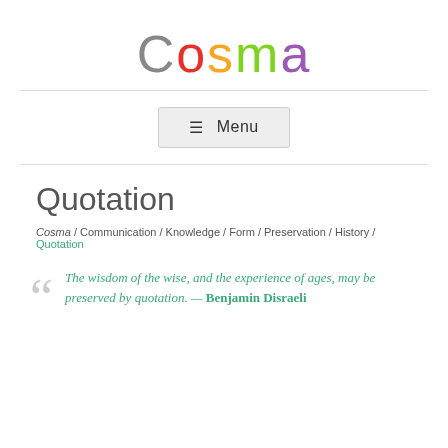[Figure (logo): Cosma logo with multicolored letters: C in gray, o in red, s in orange, m in green, a in purple]
≡ Menu
Quotation
Cosma / Communication / Knowledge / Form / Preservation / History / Quotation
The wisdom of the wise, and the experience of ages, may be preserved by quotation. — Benjamin Disraeli